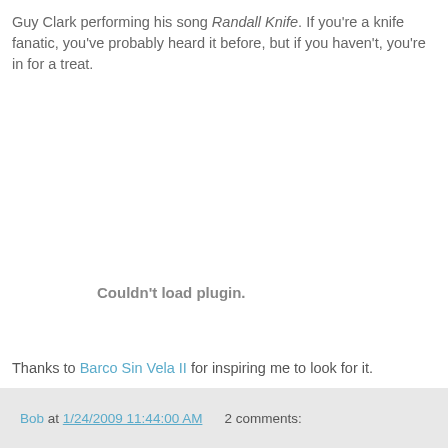Guy Clark performing his song Randall Knife. If you're a knife fanatic, you've probably heard it before, but if you haven't, you're in for a treat.
[Figure (other): Embedded media plugin area showing 'Couldn't load plugin.' message]
Thanks to Barco Sin Vela II for inspiring me to look for it.
Bob at 1/24/2009 11:44:00 AM   2 comments: